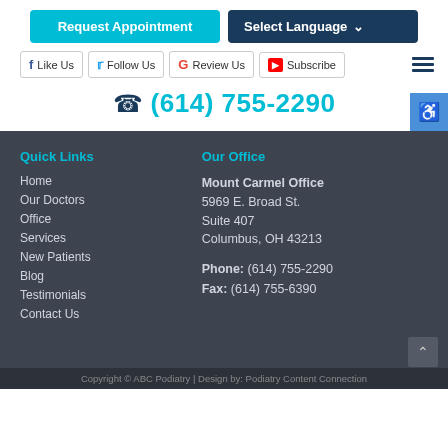Request Appointment
Select Language
Like Us
Follow Us
Review Us
Subscribe
(614) 755-2290
Quick Links
Home
Our Doctors
Office
Services
New Patients
Blog
Testimonials
Contact Us
Our Office
Mount Carmel Office
5969 E. Broad St.
Suite 407
Columbus, OH 43213
Phone: (614) 755-2290
Fax: (614) 755-6390
Copyright © ABC Podiatry | Design by: Podiatry Content Connection